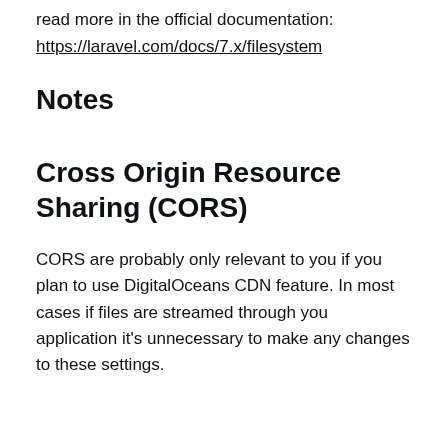read more in the official documentation:
https://laravel.com/docs/7.x/filesystem
Notes
Cross Origin Resource Sharing (CORS)
CORS are probably only relevant to you if you plan to use DigitalOceans CDN feature. In most cases if files are streamed through you application it's unnecessary to make any changes to these settings.